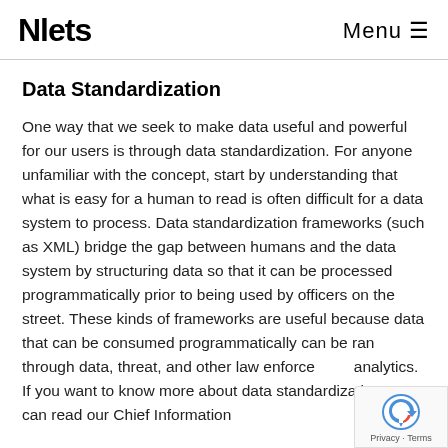Nlets   Menu ≡
Data Standardization
One way that we seek to make data useful and powerful for our users is through data standardization. For anyone unfamiliar with the concept, start by understanding that what is easy for a human to read is often difficult for a data system to process. Data standardization frameworks (such as XML) bridge the gap between humans and the data system by structuring data so that it can be processed programmatically prior to being used by officers on the street. These kinds of frameworks are useful because data that can be consumed programmatically can be ran through data, threat, and other law enforcement analytics. If you want to know more about data standardization, you can read our Chief Information